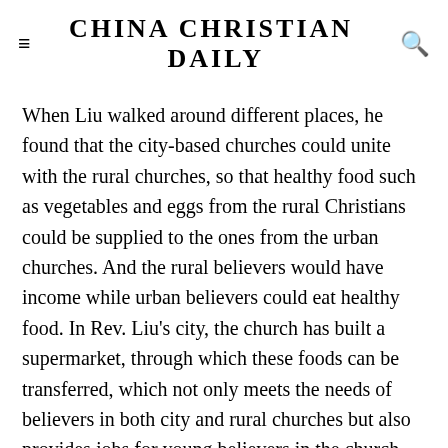CHINA CHRISTIAN DAILY
When Liu walked around different places, he found that the city-based churches could unite with the rural churches, so that healthy food such as vegetables and eggs from the rural Christians could be supplied to the ones from the urban churches. And the rural believers would have income while urban believers could eat healthy food. In Rev. Liu's city, the church has built a supermarket, through which these foods can be transferred, which not only meets the needs of believers in both city and rural churches but also provides jobs for young believers in the church. Such a supermarket can serve not only the urban congregation but also the community residents.
Liu mentioned that in traditional fermentation methods